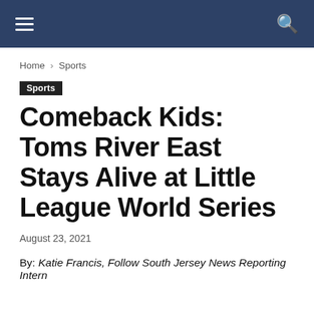Navigation bar with hamburger menu and search icon
Home › Sports
Sports
Comeback Kids: Toms River East Stays Alive at Little League World Series
August 23, 2021
By: Katie Francis, Follow South Jersey News Reporting Intern